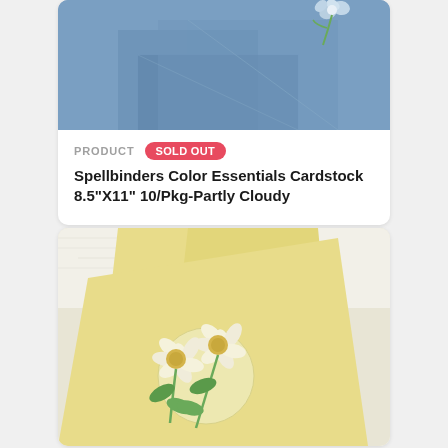[Figure (photo): Blue cardstock paper with a light blue flower accent on top, partially visible at top of first product card]
PRODUCT
SOLD OUT
Spellbinders Color Essentials Cardstock 8.5"X11" 10/Pkg-Partly Cloudy
[Figure (photo): Yellow cardstock paper arranged in a fan/layered pattern with two white daisy flowers made of quilling paper on a circular base, with green leaves, displayed on a white textured background]